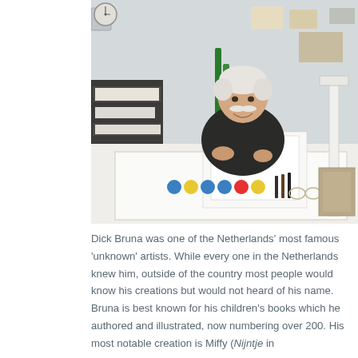[Figure (photo): An elderly man with white hair and mustache sits at a large white drafting table in a studio. He is smiling at the camera. On the desk are drawings and colorful items. Behind him are shelves with papers, art supplies, and items pinned to the wall. A window with natural light is visible in the background.]
Dick Bruna was one of the Netherlands' most famous 'unknown' artists. While every one in the Netherlands knew him, outside of the country most people would know his creations but would not heard of his name.
Bruna is best known for his children's books which he authored and illustrated, now numbering over 200. His most notable creation is Miffy (Nijntje in